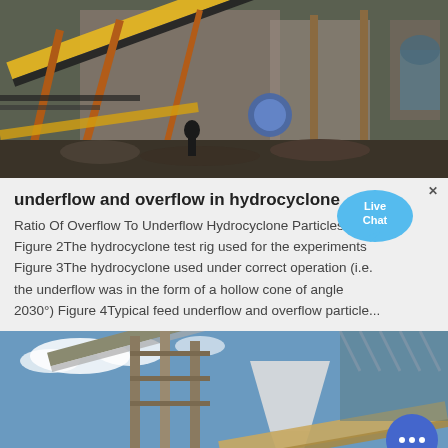[Figure (photo): Industrial conveyor belt machinery at a mining or processing site, with a person standing near the equipment. Yellow and black conveyor belts, metal structures, and industrial buildings visible.]
underflow and overflow in hydrocyclone
Ratio Of Overflow To Underflow Hydrocyclone Particles. Figure 2The hydrocyclone test rig used for the experiments Figure 3The hydrocyclone used under correct operation (i.e. the underflow was in the form of a hollow cone of angle 2030°) Figure 4Typical feed underflow and overflow particle...
[Figure (photo): Industrial conveyor belt and processing equipment against a blue sky with clouds. Large metal structures and a concrete funnel/hopper visible. A circular chat button overlay in the lower right corner.]